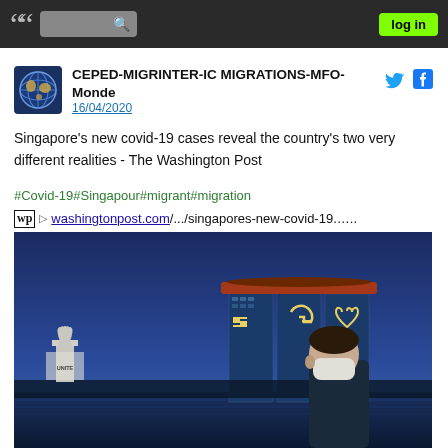navigation bar with quotes logo, search box, and log in button
CEPED-MIGRINTER-IC MIGRATIONS-MFO-Monde
16/04/2020
Singapore's new covid-19 cases reveal the country's two very different realities - The Washington Post
#Covid-19#Singapour#migrant#migration
wp ▷ washingtonpost.com/.../singapores-new-covid-19.…..
[Figure (photo): Photo of a masked man walking in front of the Marina Bay Sands hotel in Singapore at dusk, with the ArtScience Museum on the left. The towers of the hotel display a '50' and heart symbol in lights, and a 'UNITE' sign is visible on the left structure.]